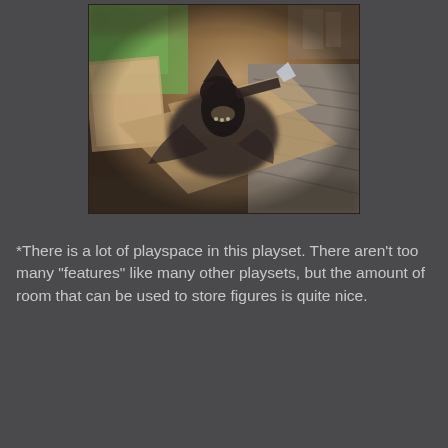[Figure (photo): A toy/action figure of a dark-cloaked warrior or assassin character posed dynamically on a rooftop-style playset with cardboard-like surfaces. The background shows a green wall and shelving. The photo has a tilt-shift/shallow depth-of-field effect.]
*There is a lot of playspace in this playset. There aren't too many "features" like many other playsets, but the amount of room that can be used to store figures is quite nice.